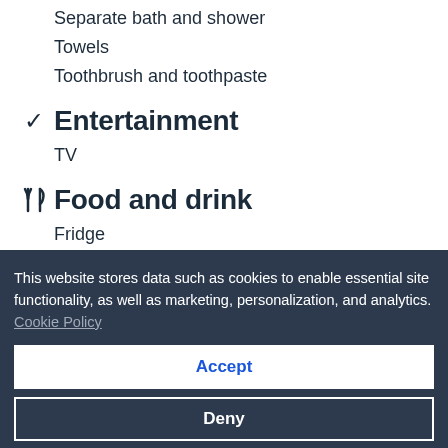Separate bath and shower
Towels
Toothbrush and toothpaste
Entertainment
TV
Food and drink
Fridge
More
Safe
This website stores data such as cookies to enable essential site functionality, as well as marketing, personalization, and analytics. Cookie Policy
Accept
Deny